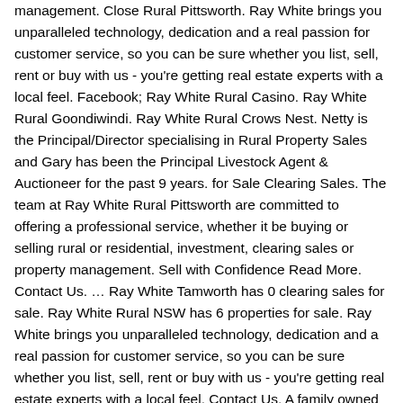management. Close Rural Pittsworth. Ray White brings you unparalleled technology, dedication and a real passion for customer service, so you can be sure whether you list, sell, rent or buy with us - you're getting real estate experts with a local feel. Facebook; Ray White Rural Casino. Ray White Rural Goondiwindi. Ray White Rural Crows Nest. Netty is the Principal/Director specialising in Rural Property Sales and Gary has been the Principal Livestock Agent & Auctioneer for the past 9 years. for Sale Clearing Sales. The team at Ray White Rural Pittsworth are committed to offering a professional service, whether it be buying or selling rural or residential, investment, clearing sales or property management. Sell with Confidence Read More. Contact Us. … Ray White Tamworth has 0 clearing sales for sale. Ray White Rural NSW has 6 properties for sale. Ray White brings you unparalleled technology, dedication and a real passion for customer service, so you can be sure whether you list, sell, rent or buy with us - you're getting real estate experts with a local feel. Contact Us. A family owned real estate